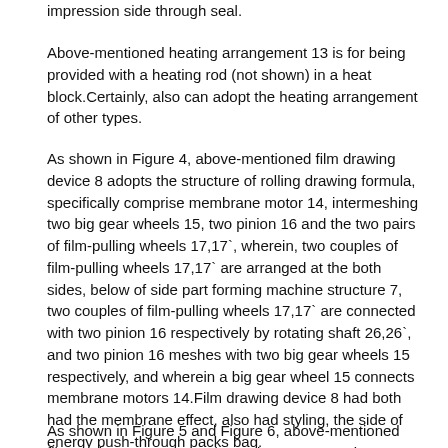impression side through seal.
Above-mentioned heating arrangement 13 is for being provided with a heating rod (not shown) in a heat block.Certainly, also can adopt the heating arrangement of other types.
As shown in Figure 4, above-mentioned film drawing device 8 adopts the structure of rolling drawing formula, specifically comprise membrane motor 14, intermeshing two big gear wheels 15, two pinion 16 and the two pairs of film-pulling wheels 17,17`, wherein, two couples of film-pulling wheels 17,17` are arranged at the both sides, below of side part forming machine structure 7, two couples of film-pulling wheels 17,17` are connected with two pinion 16 respectively by rotating shaft 26,26`, and two pinion 16 meshes with two big gear wheels 15 respectively, and wherein a big gear wheel 15 connects membrane motors 14.Film drawing device 8 had both had the membrane effect, also had styling, the side of energy push-through packs bag.
As shown in Figure 5 and Figure 6, above-mentioned film cutting apparatus 10 is a scissor construction, promptly